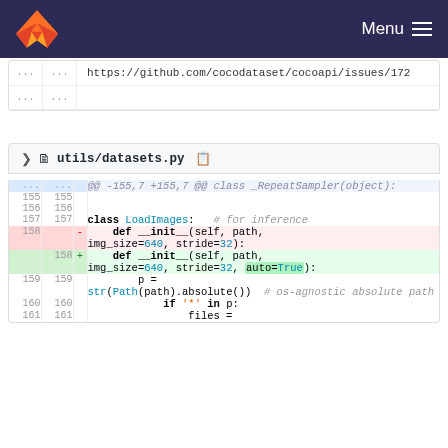Menu
https://github.com/cocodataset/cocoapi/issues/172
...
...
utils/datasets.py
@@ -155,7 +155,7 @@ class _RepeatSampler(object):
155  155
156  156
157  157    class LoadImages:   # for inference
158         -    def __init__(self, path, img_size=640, stride=32):
     158    +    def __init__(self, path, img_size=640, stride=32, auto=True):
159  159        p = str(Path(path).absolute())  # os-agnostic absolute path
160  160        if '*' in p:
161  161            files =